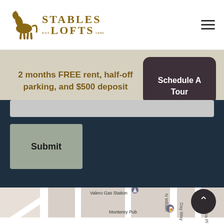[Figure (logo): Stables Lofts logo with horse silhouette and text]
2 months FREE rent, half-off parking, and $500 deposit
Schedule A Tour
Submit
[Figure (map): Street map showing Valero Gas Station, Monterey Pub, Dollar General, Allegheny YMCA, and nearby streets]